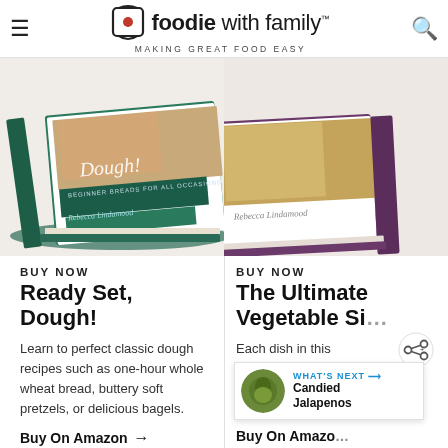foodie with family™ — MAKING GREAT FOOD EASY
[Figure (photo): Cookbook 'Ready Set, Dough!' by Rebecca Lindamood stacked as physical books with teal/green spine]
[Figure (photo): Cookbook 'The Ultimate Vegetable Side' by Rebecca Lindamood with purple spine]
BUY NOW
Ready Set, Dough!
Learn to perfect classic dough recipes such as one-hour whole wheat bread, buttery soft pretzels, or delicious bagels.
Buy On Amazon →
BUY NOW
The Ultimate Vegetable Si…
Each dish in this the flavors and te… favorite vegetabl… m…
[Figure (other): Share icon (network share symbol)]
[Figure (other): What's Next widget showing Candied Jalapenos thumbnail]
Buy On Amazo…